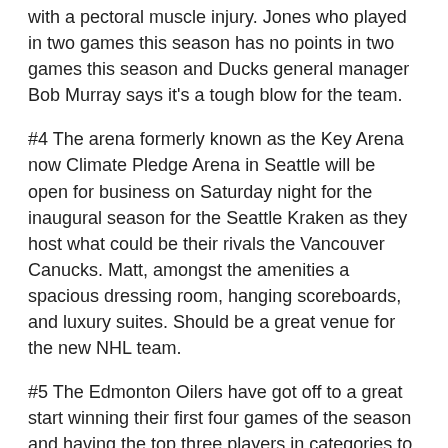with a pectoral muscle injury. Jones who played in two games this season has no points in two games this season and Ducks general manager Bob Murray says it's a tough blow for the team.
#4 The arena formerly known as the Key Arena now Climate Pledge Arena in Seattle will be open for business on Saturday night for the inaugural season for the Seattle Kraken as they host what could be their rivals the Vancouver Canucks. Matt, amongst the amenities a spacious dressing room, hanging scoreboards, and luxury suites. Should be a great venue for the new NHL team.
#5 The Edmonton Oilers have got off to a great start winning their first four games of the season and having the top three players in categories to lead the league, Conner McDavid with six goals and 11 points and Leon Draisaitl with six assists which explains why their off to such a great start.
Join Matt for the NHL podcasts each Saturday at